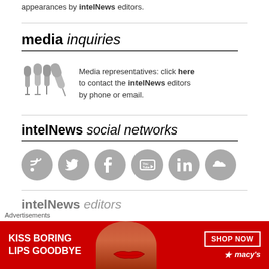appearances by intelNews editors.
media inquiries
Media representatives: click here to contact the intelNews editors by phone or email.
intelNews social networks
[Figure (infographic): Six social media icon circles in gray: RSS, Twitter, Facebook, YouTube, LinkedIn, SoundCloud]
intelNews editors
Advertisements
[Figure (other): Macy's advertisement banner: KISS BORING LIPS GOODBYE with SHOP NOW button and macy's logo, red background with woman's face]